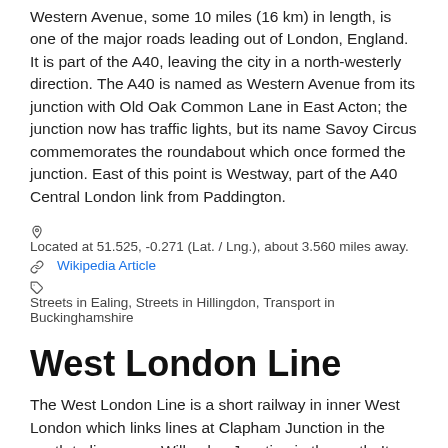Western Avenue, some 10 miles (16 km) in length, is one of the major roads leading out of London, England. It is part of the A40, leaving the city in a north-westerly direction. The A40 is named as Western Avenue from its junction with Old Oak Common Lane in East Acton; the junction now has traffic lights, but its name Savoy Circus commemorates the roundabout which once formed the junction. East of this point is Westway, part of the A40 Central London link from Paddington.
Located at 51.525, -0.271 (Lat. / Lng.), about 3.560 miles away.
Wikipedia Article
Streets in Ealing, Streets in Hillingdon, Transport in Buckinghamshire
West London Line
The West London Line is a short railway in inner West London which links lines at Clapham Junction in the south to lines near Willesden Junction in the north. It has always been an important route, especially for freight t